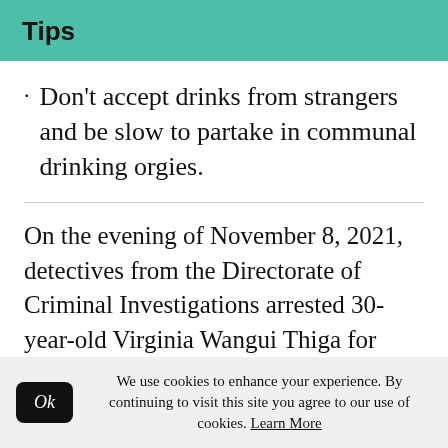Tips
Don't accept drinks from strangers and be slow to partake in communal drinking orgies.
On the evening of November 8, 2021, detectives from the Directorate of Criminal Investigations arrested 30-year-old Virginia Wangui Thiga for drugging and robbing a club reveler Sh. 1 million in Kasarani, Nairobi. Virginia and her female friend had been
We use cookies to enhance your experience. By continuing to visit this site you agree to our use of cookies. Learn More